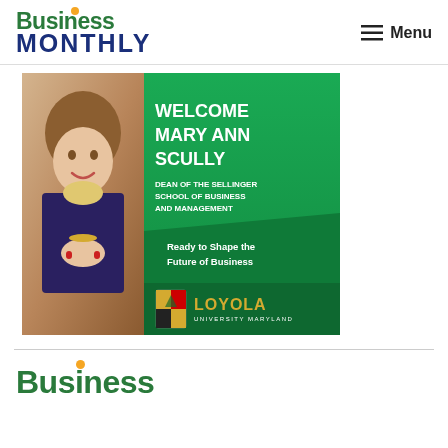Business MONTHLY — Menu
[Figure (photo): Promotional banner for Loyola University Maryland featuring Mary Ann Scully as Dean of the Sellinger School of Business and Management. Left side shows a photo of a smiling woman with short hair, wearing a colorful scarf. Right green panel reads: WELCOME MARY ANN SCULLY, DEAN OF THE SELLINGER SCHOOL OF BUSINESS AND MANAGEMENT, Ready to Shape the Future of Business. Bottom shows Loyola University Maryland shield logo and name.]
[Figure (logo): Business Monthly logo — partial, showing top of the Business Monthly green and blue text logo at the bottom of the page]